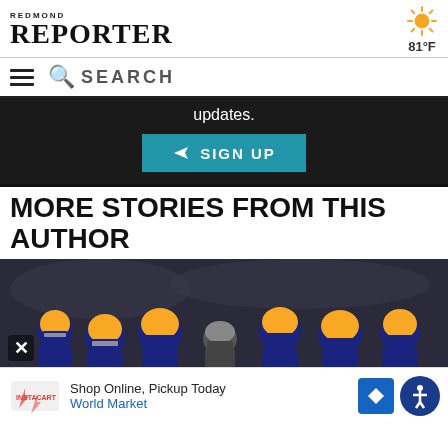REDMOND REPORTER
81°F
SEARCH
updates.
SIGN UP
MORE STORIES FROM THIS AUTHOR
[Figure (photo): Football players in navy and yellow helmets and uniforms huddled with a coach on the sideline]
Shop Online, Pickup Today
World Market